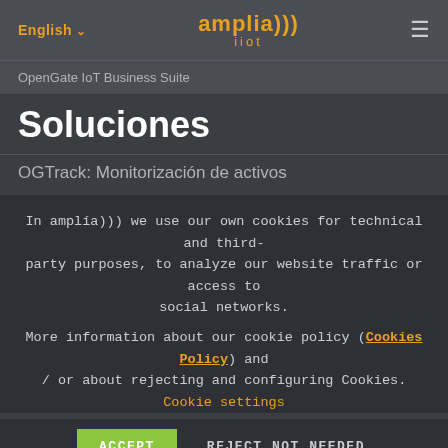English ∨   amplía))) iiot   ☰
OpenGate IoT Business Suite
Soluciones
OGTrack: Monitorización de activos
In amplía))) we use our own cookies for technical and third-party purposes, to analyze our website traffic or access to social networks.
More information about our cookie policy (Cookies Policy) and / or about rejecting and configuring Cookies. Cookie settings
ACCEPT   REJECT NOT NEEDED